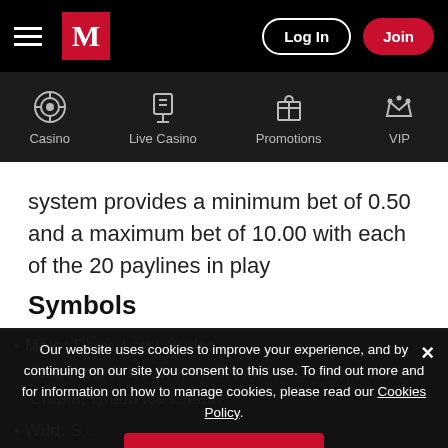[Figure (screenshot): Top navigation bar with hamburger menu, M logo in red square, Log In button with white border, Join button in red]
[Figure (screenshot): Secondary navigation bar with icons for Casino, Live Casino, Promotions, VIP]
system provides a minimum bet of 0.50 and a maximum bet of 10.00 with each of the 20 paylines in play
Symbols
Main: Diver, Lady, Surfer, Skateboard, Ice Cream, Brown Ice Cream, Pink Ice Cream, Green Ice Cream
Wild: S...
Our website uses cookies to improve your experience, and by continuing on our site you consent to this use. To find out more and for information on how to manage cookies, please read our Cookies Policy.